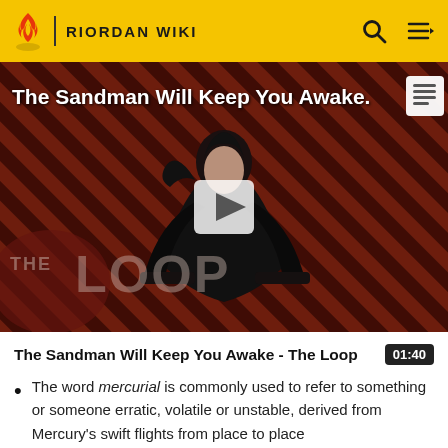RIORDAN WIKI
[Figure (screenshot): Video thumbnail for 'The Sandman Will Keep You Awake - The Loop' showing a dark-cloaked figure against a red diagonal striped background with 'THE LOOP' watermark and a play button overlay]
The Sandman Will Keep You Awake - The Loop  01:40
The word mercurial is commonly used to refer to something or someone erratic, volatile or unstable, derived from Mercury's swift flights from place to place